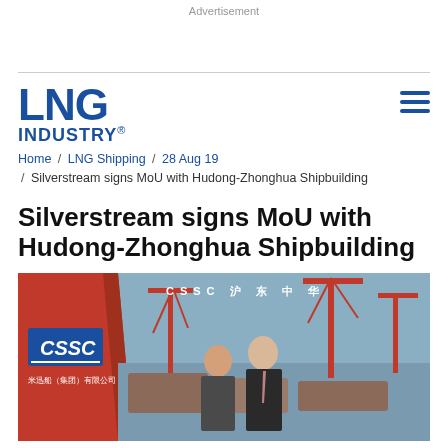Advertisement
[Figure (logo): LNG INDUSTRY logo in bold blue text with registered trademark symbol]
Home / LNG Shipping / 28 Aug 19 / Silverstream signs MoU with Hudong-Zhonghua Shipbuilding
Silverstream signs MoU with Hudong-Zhonghua Shipbuilding
[Figure (photo): Two men standing in front of a CSSC (China State Shipbuilding Corporation) / Hudong-Zhonghua Shipbuilding backdrop showing a shipyard with cranes and vessels. A red diagonal panel and CSSC logo are visible on the left. Chinese text banner reads CSSC 沪 东 中 华 at the top.]